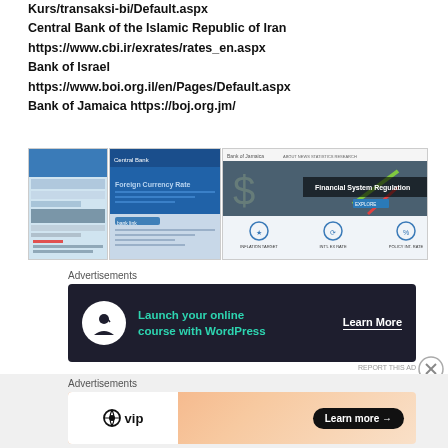Kurs/transaksi-bi/Default.aspx
Central Bank of the Islamic Republic of Iran
https://www.cbi.ir/exrates/rates_en.aspx
Bank of Israel
https://www.boi.org.il/en/Pages/Default.aspx
Bank of Jamaica https://boj.org.jm/
[Figure (screenshot): Screenshots of three central bank websites: a website interface on the left, Central Bank of Iran website in the middle, and Bank of Jamaica website on the right showing 'Financial System Regulation' with icons for Inflation Target, Int'l Exchange Rate, and Policy Intervention Rate.]
Advertisements
[Figure (other): Advertisement banner with dark background: circular icon with person/education symbol, teal text 'Launch your online course with WordPress', and 'Learn More' button with underline.]
REPORT THIS AD
Advertisements
[Figure (other): Advertisement banner with gradient orange/peach background: WordPress VIP logo on left, 'Learn more →' pill button on right.]